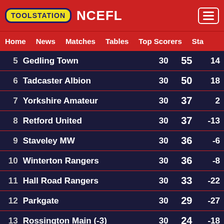TOOLSTATION NCEFL
Home  News  Matches  Tables  Top Scorers  Sta
| # | Team | P | Pts | GD |
| --- | --- | --- | --- | --- |
| 5 | Gedling Town | 30 | 55 | 14 |
| 6 | Tadcaster Albion | 30 | 50 | 18 |
| 7 | Yorkshire Amateur | 30 | 37 | 2 |
| 8 | Retford United | 30 | 37 | -13 |
| 9 | Staveley MW | 30 | 36 | -6 |
| 10 | Winterton Rangers | 30 | 36 | -8 |
| 11 | Hall Road Rangers | 30 | 33 | -22 |
| 12 | Parkgate | 30 | 29 | -27 |
| 13 | Rossington Main (-3) | 30 | 24 | -18 |
| 14 | Pontefract Collieries (-8) | 30 | 22 | -15 |
| 15 | Worsbrough Bridge MW | 30 | 21 | -32 |